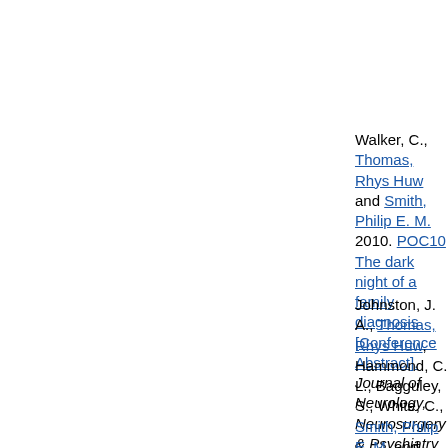Walker, C., Thomas, Rhys Huw and Smith, Philip E. M. 2010. POC10 The dark night of a family diagnosis [Conference Abstract]. Journal of Neurology, Neurosurgery & Psychiatry (11), e37-e37. 10.1136/jnnp.2010.226340.
Johnston, J. A., Thomas, Rhys Huw, Hammond, C. L., Bagguley, S., White, C., Smith, Philip E. M. and Rees, M. I. 2010. POE08 Generalised (genetic) epilepsy with febrile seizures plus phenotypes of definite and borderline UK families [Conference Abstract]. Journal of Neurology, Neurosurgery & Psychiatry (11), e48-e48. 10.1136/jnnp.2010.226340.